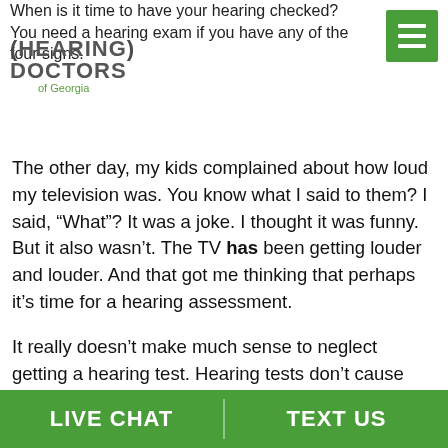(HEARING) DOCTORS of Georgia
When is it time to have your hearing checked? You need a hearing exam if you have any of the four signs.
The other day, my kids complained about how loud my television was. You know what I said to them? I said, “What”? It was a joke. I thought it was funny. But it also wasn’t. The TV has been getting louder and louder. And that got me thinking that perhaps it’s time for a hearing assessment.
It really doesn’t make much sense to neglect getting a hearing test. Hearing tests don’t cause you any discomfort, they’re non-invasive, and there isn’t any medication. It’s really just that you...
LIVE CHAT | TEXT US